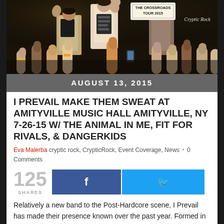[Figure (photo): Concert photo from The Crossroads Tour 2015, showing performers on stage with crowd raising fists and hands. 'Cryptic Rock' watermark visible in top right corner. Tour sign reads 'THE CROSSROADS TOUR 2015'.]
AUGUST 13, 2015
I PREVAIL MAKE THEM SWEAT AT AMITYVILLE MUSIC HALL AMITYVILLE, NY 7-26-15 W/ THE ANIMAL IN ME, FIT FOR RIVALS, & DANGERKIDS
Eva Malerba  cryptic rock,  CrypticRock,  Event Coverage,  News  •  0 Comments
125 SHARES
Relatively a new band to the Post-Hardcore scene, I Prevail has made their presence known over the past year. Formed in Michigan in 2013, consisting of Brian Burkheiser (clean